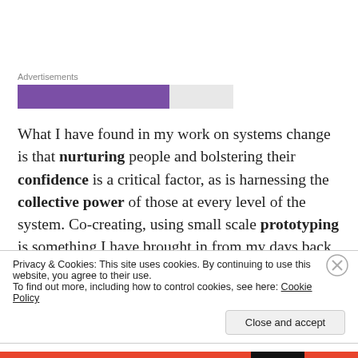[Figure (other): Advertisements label with a horizontal progress/ad bar: purple segment on left, light gray segment on right]
What I have found in my work on systems change is that nurturing people and bolstering their confidence is a critical factor, as is harnessing the collective power of those at every level of the system. Co-creating, using small scale prototyping is something I have brought in from my days back in improvement, pre systems
Privacy & Cookies: This site uses cookies. By continuing to use this website, you agree to their use.
To find out more, including how to control cookies, see here: Cookie Policy
Close and accept